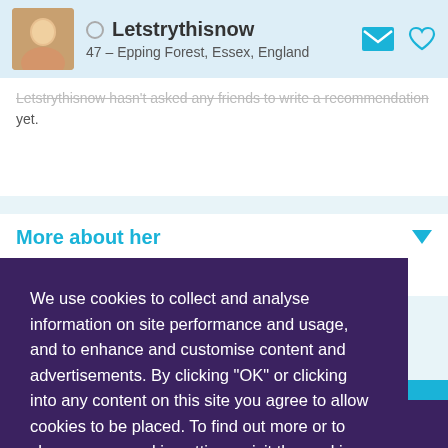[Figure (screenshot): Dating profile page screenshot showing user Letstrythisnow, 47, from Epping Forest, Essex, England, with a profile photo, recommendation text, 'More about her' section, and a cookie consent overlay with an OK button.]
Letstrythisnow hasn't asked any friends to write a recommendation yet.
More about her
onal questions
We use cookies to collect and analyse information on site performance and usage, and to enhance and customise content and advertisements. By clicking "OK" or clicking into any content on this site you agree to allow cookies to be placed. To find out more or to change your cookie settings, visit the cookies section of our Privacy Policy.